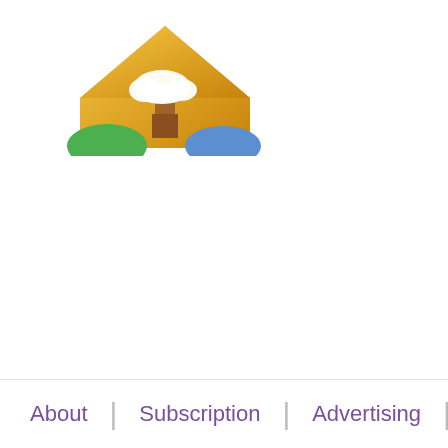[Figure (logo): House/home icon logo with a gold diamond/house shape containing a white cloud with birds, green hill on the left, blue hill on the right, and a chimney/smoke stack in the center.]
About | Subscription | Advertising |